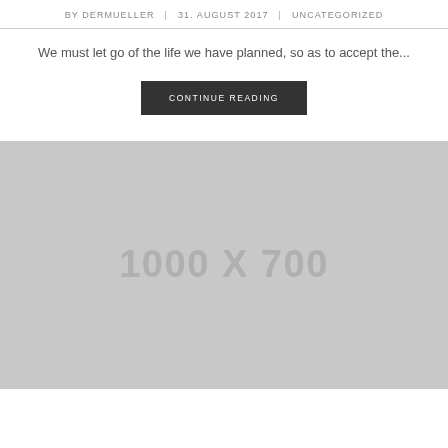BY DERMUELLER | 31. AUGUST 2017 | UNCATEGORIZED
We must let go of the life we have planned, so as to accept the...
CONTINUE READING
[Figure (other): Placeholder image showing dimensions 1000 X 700, grey rectangle]